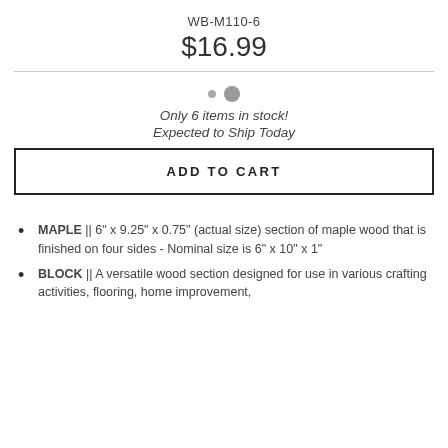WB-M110-6
$16.99
Only 6 items in stock!
Expected to Ship Today
ADD TO CART
MAPLE || 6" x 9.25" x 0.75" (actual size) section of maple wood that is finished on four sides - Nominal size is 6" x 10" x 1"
BLOCK || A versatile wood section designed for use in various crafting activities, flooring, home improvement,